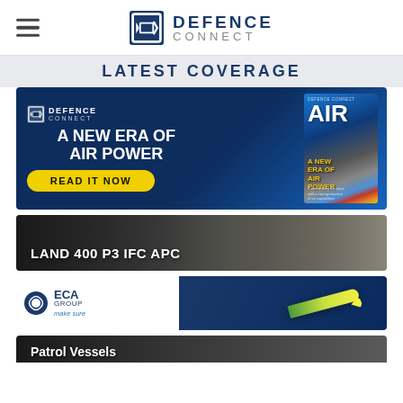DEFENCE CONNECT
LATEST COVERAGE
[Figure (illustration): Defence Connect magazine advertisement: dark blue background with 'A NEW ERA OF AIR POWER' headline and 'READ IT NOW' button, with magazine cover showing AIR edition on the right]
[Figure (photo): LAND 400 P3 IFC APC military armored vehicle article card]
[Figure (illustration): ECA GROUP make sure advertisement with logo and dark blue background with yellow torpedo/drone]
Patrol Vessels